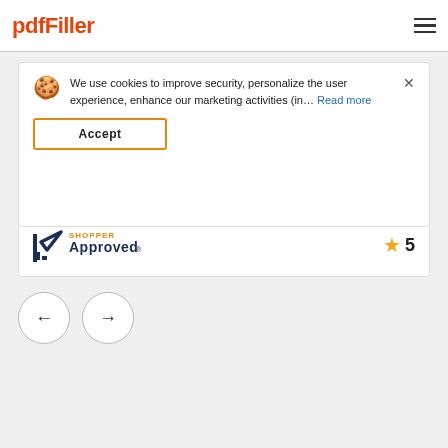pdfFiller
We use cookies to improve security, personalize the user experience, enhance our marketing activities (in... Read more
Accept
to help even the most non computer literate person like myself thank
Show more
[Figure (logo): Shopper Approved logo with star rating of 5]
[Figure (other): Left and right navigation arrow buttons]